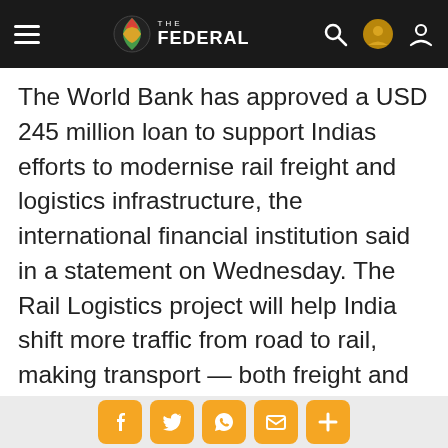THE FEDERAL
The World Bank has approved a USD 245 million loan to support Indias efforts to modernise rail freight and logistics infrastructure, the international financial institution said in a statement on Wednesday. The Rail Logistics project will help India shift more traffic from road to rail, making transport — both freight and passenger — more efficient and reducing millions of tonnes of greenhouse gas emissions (GHG) each year. The project will also incentivise more private sector